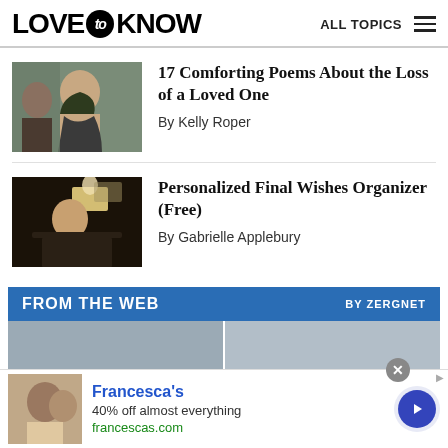LOVE to KNOW  ALL TOPICS
[Figure (photo): Woman with curly hair looking out a window, profile view]
17 Comforting Poems About the Loss of a Loved One
By Kelly Roper
[Figure (photo): Older man sitting at a desk working on a laptop in dim lighting]
Personalized Final Wishes Organizer (Free)
By Gabrielle Applebury
[Figure (screenshot): FROM THE WEB by Zergnet widget with two thumbnail images]
[Figure (photo): Francesca's advertisement: 40% off almost everything, francescas.com]